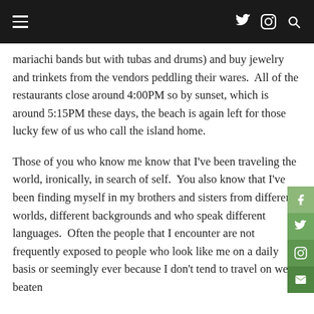≡  🐦  📷  🔍
mariachi bands but with tubas and drums) and buy jewelry and trinkets from the vendors peddling their wares.  All of the restaurants close around 4:00PM so by sunset, which is around 5:15PM these days, the beach is again left for those lucky few of us who call the island home.
Those of you who know me know that I've been traveling the world, ironically, in search of self.  You also know that I've been finding myself in my brothers and sisters from different worlds, different backgrounds and who speak different languages.  Often the people that I encounter are not frequently exposed to people who look like me on a daily basis or seemingly ever because I don't tend to travel on well-beaten